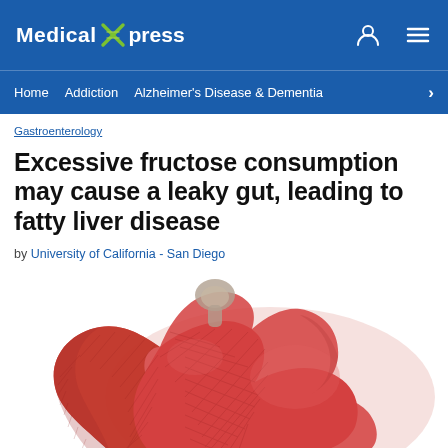Medical Xpress
Home  Addiction  Alzheimer's Disease & Dementia
Gastroenterology
Excessive fructose consumption may cause a leaky gut, leading to fatty liver disease
by University of California - San Diego
[Figure (illustration): Medical illustration of a human liver, shown in red/pink tones with detailed texture, viewed from the front, partially cropped at the bottom of the image.]